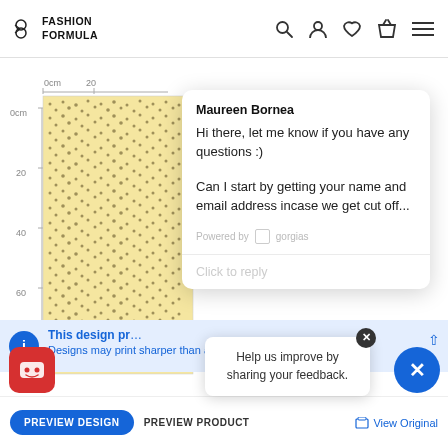[Figure (screenshot): Fashion Formula e-commerce website navbar with logo, search, account, wishlist, cart, and menu icons]
[Figure (photo): Fabric swatch with ruler showing 0cm to 80cm, beige with small scattered pattern dots]
Maureen Bornea
Hi there, let me know if you have any questions :)
Can I start by getting your name and email address incase we get cut off...
Powered by gorgias
Click to reply
This design pr...
Designs may print sharper than appear on your computer screen
Help us improve by sharing your feedback.
PREVIEW DESIGN
PREVIEW PRODUCT
View Original